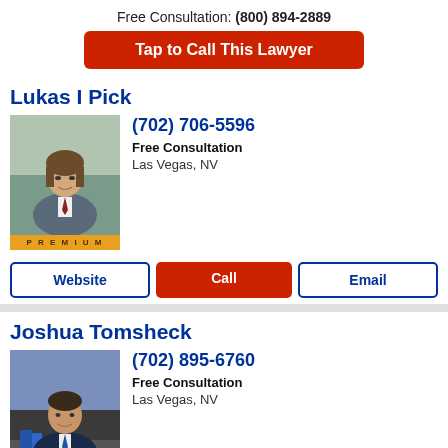Free Consultation: (800) 894-2889
Tap to Call This Lawyer
Lukas I Pick
[Figure (photo): Headshot of Lukas I Pick, a man with shoulder-length hair in a gray suit with a dark red tie, standing indoors]
(702) 706-5596
Free Consultation
Las Vegas, NV
Website | Call | Email
Joshua Tomsheck
[Figure (photo): Photo of Joshua Tomsheck, a man in a navy suit sitting at a desk with books, with a blue cityscape background]
(702) 895-6760
Free Consultation
Las Vegas, NV